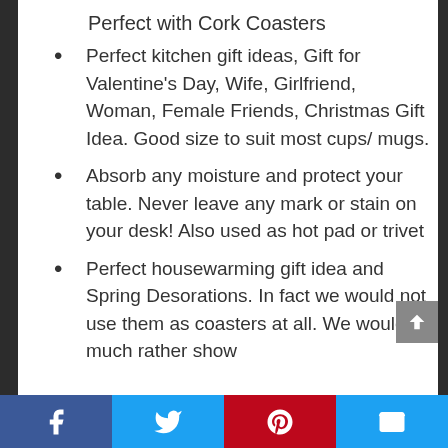Perfect with Cork Coasters
Perfect kitchen gift ideas, Gift for Valentine's Day, Wife, Girlfriend, Woman, Female Friends, Christmas Gift Idea. Good size to suit most cups/ mugs.
Absorb any moisture and protect your table. Never leave any mark or stain on your desk! Also used as hot pad or trivet
Perfect housewarming gift idea and Spring Desorations. In fact we would not use them as coasters at all. We would much rather show
Facebook | Twitter | Pinterest | Email